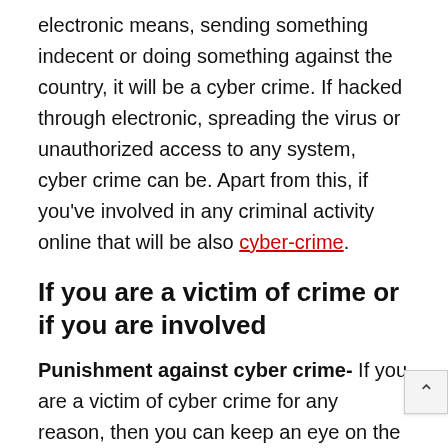electronic means, sending something indecent or doing something against the country, it will be a cyber crime. If hacked through electronic, spreading the virus or unauthorized access to any system, cyber crime can be. Apart from this, if you've involved in any criminal activity online that will be also cyber-crime.
If you are a victim of crime or if you are involved
Punishment against cyber crime- If you are a victim of cyber crime for any reason, then you can keep an eye on the law enforcement agencies as soon as you notice them. You can keep a simple diary (GD) if needed. If someone hacks your website, hack Facebook or any other media, or if your personal information is stolen, without any delay inform police near you.